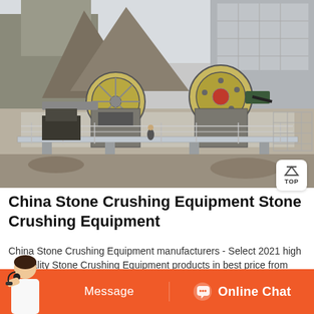[Figure (photo): Aerial/elevated view of a large industrial stone crushing facility showing two jaw crusher machines with large yellow flywheels, conveyor belts, metal walkways/platforms, and piles of crushed rock/aggregate in the background.]
China Stone Crushing Equipment Stone Crushing Equipment
China Stone Crushing Equipment manufacturers - Select 2021 high quality Stone Crushing Equipment products in best price from